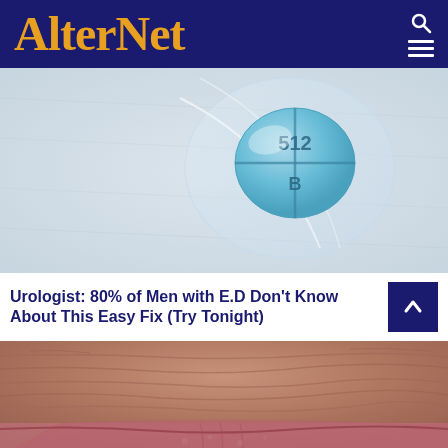AlterNet
[Figure (photo): Close-up photo of a blue circular pill with '512' and 'B' inscribed, in a clear plastic blister pack on a white background]
Urologist: 80% of Men with E.D Don't Know About This Easy Fix (Try Tonight)
[Figure (photo): Close-up photo of elderly wrinkled skin, pink and brown tones, lower portion of face showing lips and chin area]